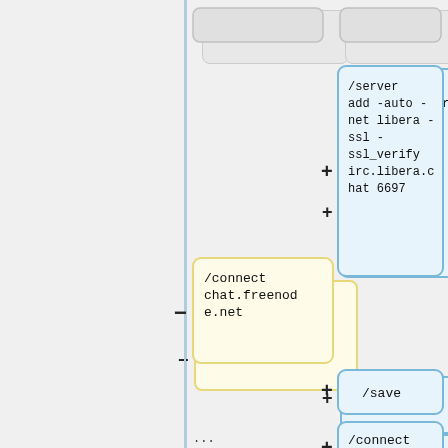[Figure (flowchart): A flowchart/comparison diagram showing IRC commands. Left side shows freenode commands and right side shows libera chat commands. Contains nodes with commands: /server add -auto -net libera -ssl -ssl_verify irc.libera.chat 6697 (blue, with + sign), /connect chat.freenode.net (yellow, with - sign), /save (blue, with + sign), /connect libera (blue, with + sign), /join #csc (plain, both sides), and empty nodes at top and bottom. A vertical blue line divides the two sides. Bottom labels partially visible.]